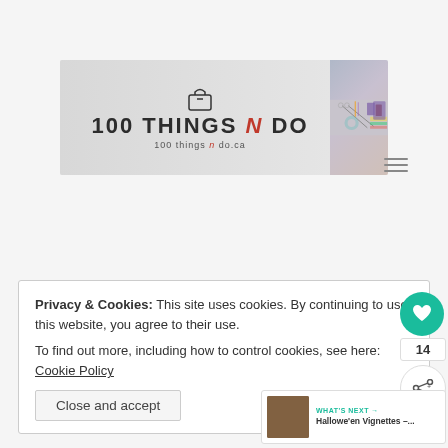[Figure (logo): 100 Things N Do website header banner with logo on left and craft supplies photo on right. Logo shows '100 THINGS N DO' with red stylized N, and URL 100thingsndo.ca below.]
[Figure (other): Hamburger menu icon (three horizontal lines) in top right area]
Privacy & Cookies: This site uses cookies. By continuing to use this website, you agree to their use.
To find out more, including how to control cookies, see here: Cookie Policy
Close and accept
[Figure (other): Heart/like button (teal circle with heart icon) showing count 14, and share button below]
WHAT'S NEXT → Hallowe'en Vignettes –...